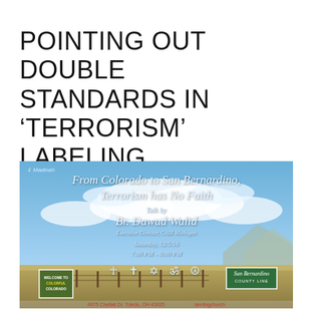POINTING OUT DOUBLE STANDARDS IN ‘TERRORISM’ LABELING
[Figure (photo): Event flyer/promotional image with a scenic background showing blue sky with clouds, prairie land, a 'Welcome to Colorful Colorado' road sign on the left, and a 'San Bernardino County Line' road sign on the right. Overlaid text reads: 'From Colorado to San Bernardino, Terrorism has No Faith' with a talk by Br. Dawud Walid, Executive Director, CAIR Michigan, on Saturday, 12/5/16, 7:00 PM – 9:00 PM, with religious symbols (crescent, cross, Star of David, Om, and another symbol). A Madinah logo appears top left. At the bottom, address text in red.]